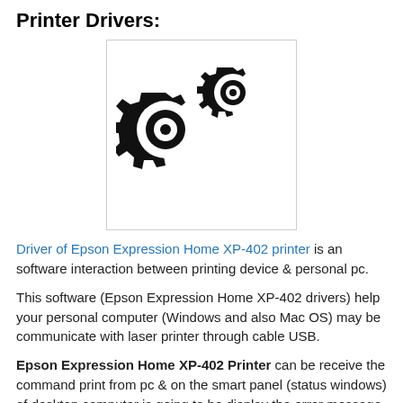Printer Drivers:
[Figure (illustration): Two interlocking gear icons (printer driver symbol) inside a light gray bordered box]
Driver of Epson Expression Home XP-402 printer is an software interaction between printing device & personal pc.
This software (Epson Expression Home XP-402 drivers) help your personal computer (Windows and also Mac OS) may be communicate with laser printer through cable USB.
Epson Expression Home XP-402 Printer can be receive the command print from pc & on the smart panel (status windows) of desktop computer is going to be display the error message. For example: Toner low, Toner empty, Toner